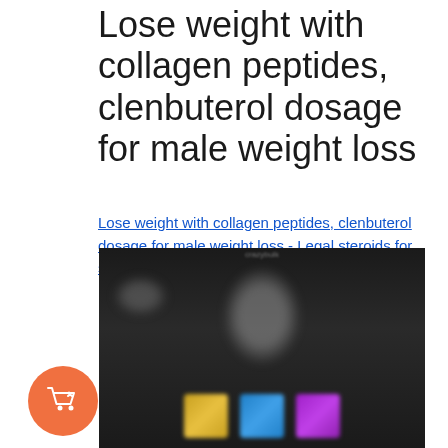Lose weight with collagen peptides, clenbuterol dosage for male weight loss
Lose weight with collagen peptides, clenbuterol dosage for male weight loss - Legal steroids for sale
[Figure (photo): Dark background product advertisement image showing a blurred human body silhouette and three supplement product images at the bottom with colorful packaging]